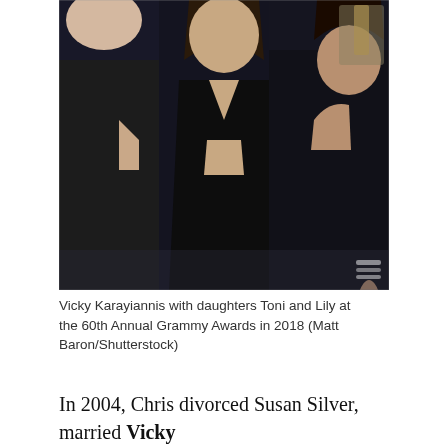[Figure (photo): Three women in black dresses posing together at the 60th Annual Grammy Awards in 2018. They are Vicky Karayiannis with daughters Toni and Lily. A Grammy award trophy is visible in the background.]
Vicky Karayiannis with daughters Toni and Lily at the 60th Annual Grammy Awards in 2018 (Matt Baron/Shutterstock)
In 2004, Chris divorced Susan Silver, married Vicky